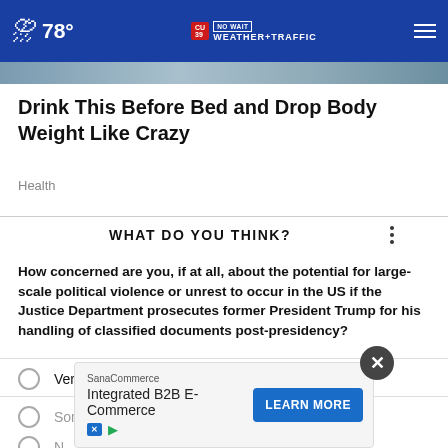78° CW39 NO WAIT WEATHER+TRAFFIC
[Figure (photo): Partial image strip at top of article]
Drink This Before Bed and Drop Body Weight Like Crazy
Health
WHAT DO YOU THINK?
How concerned are you, if at all, about the potential for large-scale political violence or unrest to occur in the US if the Justice Department prosecutes former President Trump for his handling of classified documents post-presidency?
Very concerned
Somewhat concerned
N
Other / No opinion
[Figure (screenshot): SanaCommerce advertisement overlay: Integrated B2B E-Commerce with LEARN MORE button]